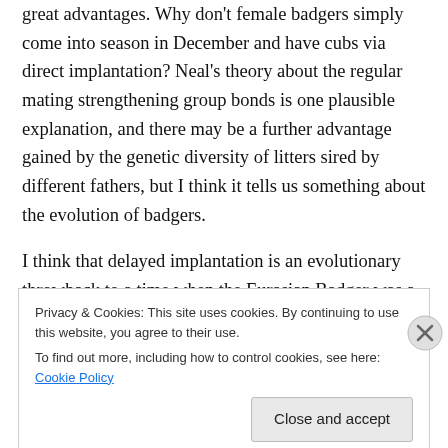great advantages. Why don't female badgers simply come into season in December and have cubs via direct implantation? Neal's theory about the regular mating strengthening group bonds is one plausible explanation, and there may be a further advantage gained by the genetic diversity of litters sired by different fathers, but I think it tells us something about the evolution of badgers.
I think that delayed implantation is an evolutionary throwback to a time when the Eurasian Badger was a solitary animal. I think it points to a period in the history of
Privacy & Cookies: This site uses cookies. By continuing to use this website, you agree to their use.
To find out more, including how to control cookies, see here: Cookie Policy